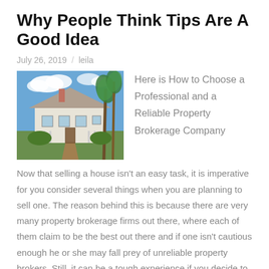Why People Think Tips Are A Good Idea
July 26, 2019   leila
[Figure (photo): Photograph of a large Victorian-style house with palm trees and a cloudy blue sky in the background]
Here is How to Choose a Professional and a Reliable Property Brokerage Company
Now that selling a house isn't an easy task, it is imperative for you consider several things when you are planning to sell one. The reason behind this is because there are very many property brokerage firms out there, where each of them claim to be the best out there and if one isn't cautious enough he or she may fall prey of unreliable property brokers. Still, it can be a tough experience if you decide to sell the house all by yourself because you don't have the requisite experience to